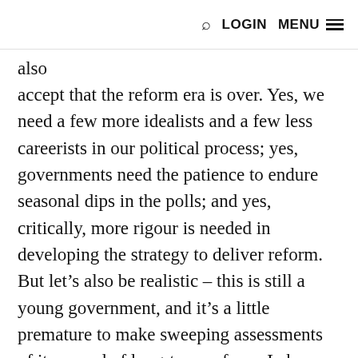🔍 LOGIN MENU ≡
commit men to the reform room, there's also accept that the reform era is over. Yes, we need a few more idealists and a few less careerists in our political process; yes, governments need the patience to endure seasonal dips in the polls; and yes, critically, more rigour is needed in developing the strategy to deliver reform. But let's also be realistic – this is still a young government, and it's a little premature to make sweeping assessments of its record of long-term reform. Labor deserves a bit of credit for putting reform back at the centre of political debate in recent years, and for sticking its head above the parapet and pushing for big changes in its first term. Even